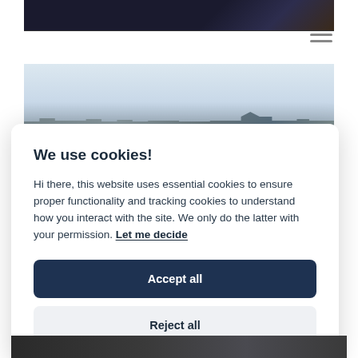[Figure (photo): Dark nighttime road scene with orange light streak, top background strip]
[Figure (photo): Overcast sky with city skyline silhouette, middle background strip]
We use cookies!
Hi there, this website uses essential cookies to ensure proper functionality and tracking cookies to understand how you interact with the site. We only do the latter with your permission. Let me decide
Accept all
Reject all
[Figure (photo): Dark building/infrastructure photo, bottom background strip]